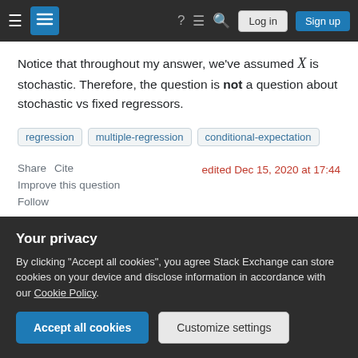Stack Exchange navigation bar with Log in and Sign up buttons
Notice that throughout my answer, we've assumed X is stochastic. Therefore, the question is not a question about stochastic vs fixed regressors.
regression
multiple-regression
conditional-expectation
Share   Cite
Improve this question
Follow
edited Dec 15, 2020 at 17:44
asked Dec 15, 2020 at 7:51
Your privacy
By clicking "Accept all cookies", you agree Stack Exchange can store cookies on your device and disclose information in accordance with our Cookie Policy.
Accept all cookies
Customize settings